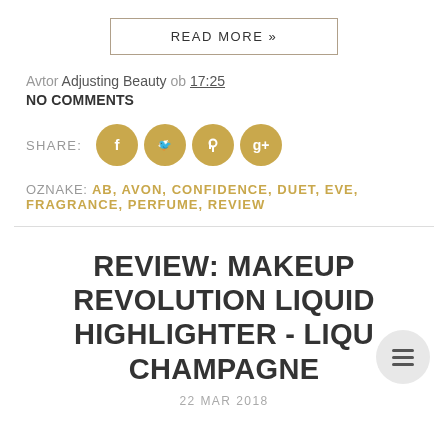READ MORE »
Avtor Adjusting Beauty ob 17:25
NO COMMENTS
[Figure (infographic): Social share icons: SHARE: followed by four gold circular buttons for Facebook, Twitter, Pinterest, and Google+]
OZNAKE: AB, AVON, CONFIDENCE, DUET, EVE, FRAGRANCE, PERFUME, REVIEW
REVIEW: MAKEUP REVOLUTION LIQUID HIGHLIGHTER - LIQUID CHAMPAGNE
22 MAR 2018